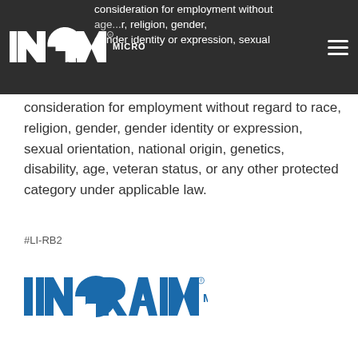Ingram Micro header navigation bar with logo and hamburger menu
consideration for employment without regard to race, religion, gender, gender identity or expression, sexual orientation, national origin, genetics, disability, age, veteran status, or any other protected category under applicable law.
#LI-RB2
[Figure (logo): Ingram Micro blue logo]
Partager:
[Figure (infographic): Social share icons: email (teal), Facebook (dark blue), LinkedIn (blue), Twitter (light blue)]